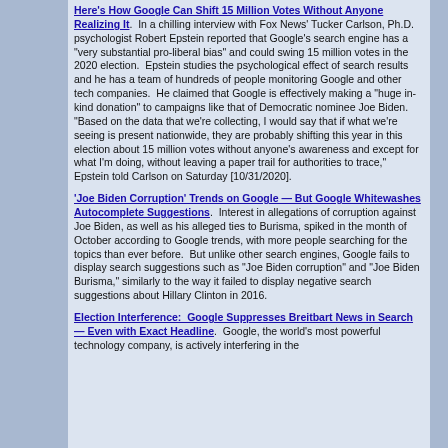Here's How Google Can Shift 15 Million Votes Without Anyone Realizing It.  In a chilling interview with Fox News' Tucker Carlson, Ph.D. psychologist Robert Epstein reported that Google's search engine has a "very substantial pro-liberal bias" and could swing 15 million votes in the 2020 election.  Epstein studies the psychological effect of search results and he has a team of hundreds of people monitoring Google and other tech companies.  He claimed that Google is effectively making a "huge in-kind donation" to campaigns like that of Democratic nominee Joe Biden.  "Based on the data that we're collecting, I would say that if what we're seeing is present nationwide, they are probably shifting this year in this election about 15 million votes without anyone's awareness and except for what I'm doing, without leaving a paper trail for authorities to trace," Epstein told Carlson on Saturday [10/31/2020].
'Joe Biden Corruption' Trends on Google — But Google Whitewashes Autocomplete Suggestions.  Interest in allegations of corruption against Joe Biden, as well as his alleged ties to Burisma, spiked in the month of October according to Google trends, with more people searching for the topics than ever before.  But unlike other search engines, Google fails to display search suggestions such as "Joe Biden corruption" and "Joe Biden Burisma," similarly to the way it failed to display negative search suggestions about Hillary Clinton in 2016.
Election Interference:  Google Suppresses Breitbart News in Search — Even with Exact Headline.  Google, the world's most powerful technology company, is actively interfering in the